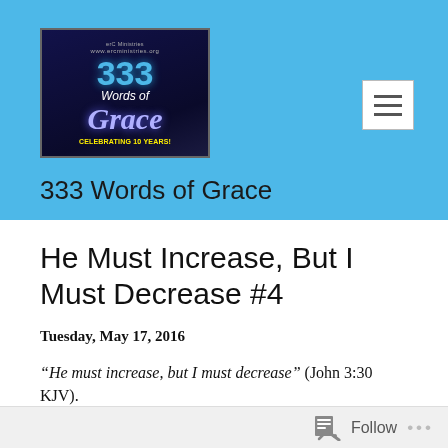[Figure (logo): 333 Words of Grace logo — dark blue background with '333', 'Words of', 'Grace' in stylized text, 'Celebrating 10 Years!' at the bottom]
333 Words of Grace
He Must Increase, But I Must Decrease #4
Tuesday, May 17, 2016
“He must increase, but I must decrease” (John 3:30 KJV).
Follow ...